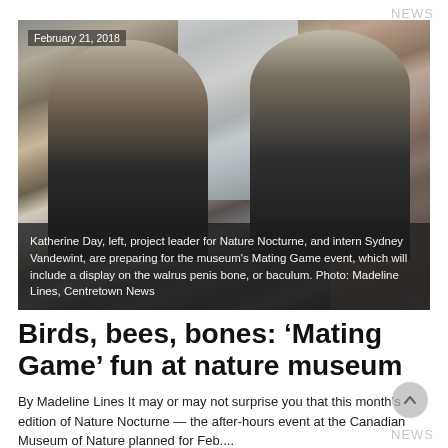NEWS
[Figure (photo): Two women, Katherine Day on the left and intern Sydney Vandewint on the right, standing near a window in a building. Both wearing black t-shirts. Date overlay reads February 21, 2018.]
Katherine Day, left, project leader for Nature Nocturne, and intern Sydney Vandewint, are preparing for the museum's Mating Game event, which will include a display on the walrus penis bone, or baculum. Photo: Madeline Lines, Centretown News
Birds, bees, bones: ‘Mating Game’ fun at nature museum
By Madeline Lines It may or may not surprise you that this month’s edition of Nature Nocturne — the after-hours event at the Canadian Museum of Nature planned for Feb....
NEWS